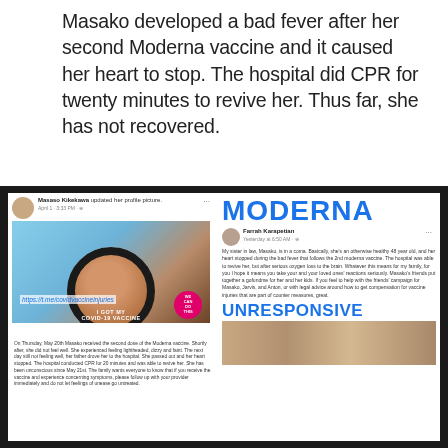Masako developed a bad fever after her second Moderna vaccine and it caused her heart to stop. The hospital did CPR for twenty minutes to revive her. Thus far, she has not recovered.
[Figure (screenshot): Screenshot of Facebook posts about Masako Kikekawa. Left side shows a profile photo update with a woman's photo overlaid with 'I GOT MY COVID-19 VACCINE' badge and a Telegram link. Below is text about receiving the second Moderna vaccine dose on Thursday May 20th, experiencing symptoms, passing out, heart stopping, CPR for 20 minutes, and being unconscious since May 21st. Right side shows 'MODERNA' in large blue text, a Facebook post by Farrah Karapetian describing her sister-in-law Masako being in a coma after heart stopped during bad fever following 2nd moderna vaccine, and 'UNRESPONSIVE' in large blue text with a photo strip below of people.]